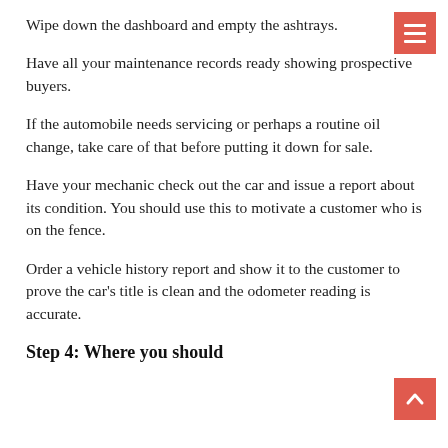Wipe down the dashboard and empty the ashtrays.
Have all your maintenance records ready showing prospective buyers.
If the automobile needs servicing or perhaps a routine oil change, take care of that before putting it down for sale.
Have your mechanic check out the car and issue a report about its condition. You should use this to motivate a customer who is on the fence.
Order a vehicle history report and show it to the customer to prove the car's title is clean and the odometer reading is accurate.
Step 4: Where you should